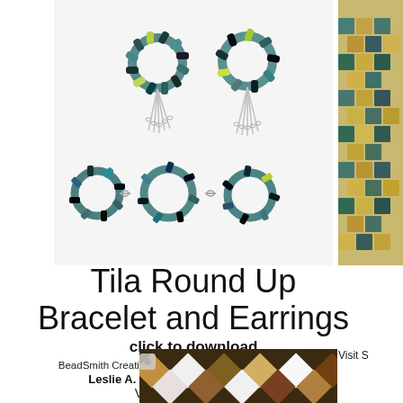[Figure (photo): Tila Round Up bracelet and earrings — teal/blue/black beaded circular ring motifs with silver chain tassels]
[Figure (photo): Partial side image of another beaded jewelry piece with gold/teal tones]
Tila Round Up Bracelet and Earrings
click to download
BeadSmith Creative Designer & Inspiration Squad Member
Leslie A. Pope (Twisted Sistah Beads)
Visit Leslie's Website
[Figure (photo): Bottom partial image showing a brown/gold/white diamond-pattern beaded bracelet]
Visit S